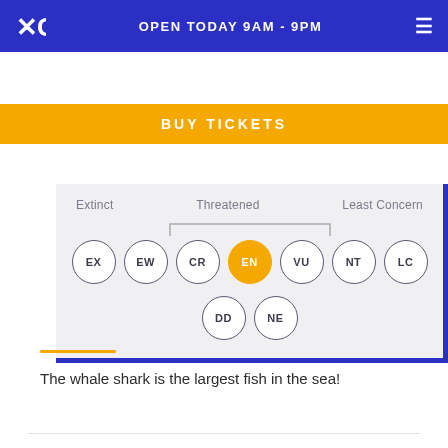OPEN TODAY 9AM - 9PM
BUY TICKETS
[Figure (infographic): IUCN conservation status scale diagram showing categories: EX (Extinct), EW (Extinct in the Wild), CR (Critically Endangered), EN (Endangered, highlighted in gold), VU (Vulnerable), NT (Near Threatened), LC (Least Concern), DD (Data Deficient), NE (Not Evaluated). Threatened bracket groups CR, EN, VU.]
The whale shark is the largest fish in the sea!